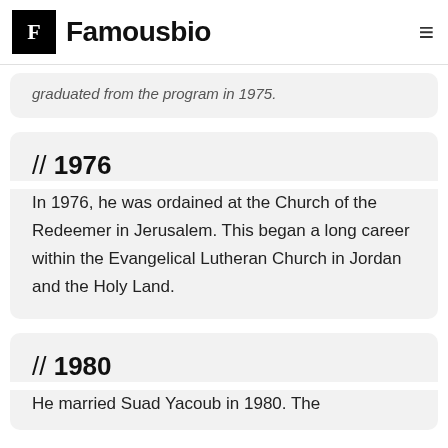Famousbio
graduated from the program in 1975.
// 1976
In 1976, he was ordained at the Church of the Redeemer in Jerusalem. This began a long career within the Evangelical Lutheran Church in Jordan and the Holy Land.
// 1980
He married Suad Yacoub in 1980. The